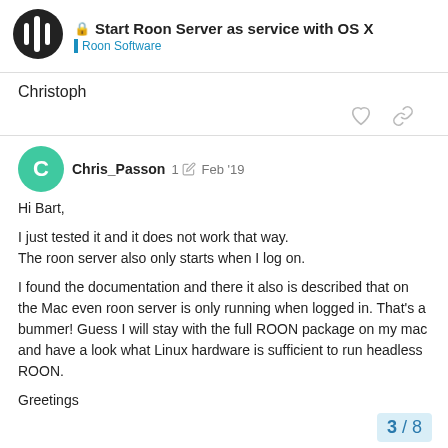Start Roon Server as service with OS X — Roon Software
Christoph
Chris_Passon  1  Feb '19
Hi Bart,

I just tested it and it does not work that way.
The roon server also only starts when I log on.

I found the documentation and there it also is described that on the Mac even roon server is only running when logged in. That's a bummer! Guess I will stay with the full ROON package on my mac and have a look what Linux hardware is sufficient to run headless ROON.

Greetings
3 / 8